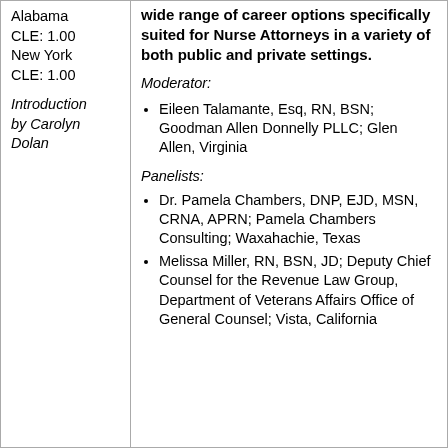Alabama CLE: 1.00 New York CLE: 1.00
wide range of career options specifically suited for Nurse Attorneys in a variety of both public and private settings.
Introduction by Carolyn Dolan
Moderator:
Eileen Talamante, Esq, RN, BSN; Goodman Allen Donnelly PLLC; Glen Allen, Virginia
Panelists:
Dr. Pamela Chambers, DNP, EJD, MSN, CRNA, APRN; Pamela Chambers Consulting; Waxahachie, Texas
Melissa Miller, RN, BSN, JD; Deputy Chief Counsel for the Revenue Law Group, Department of Veterans Affairs Office of General Counsel; Vista, California